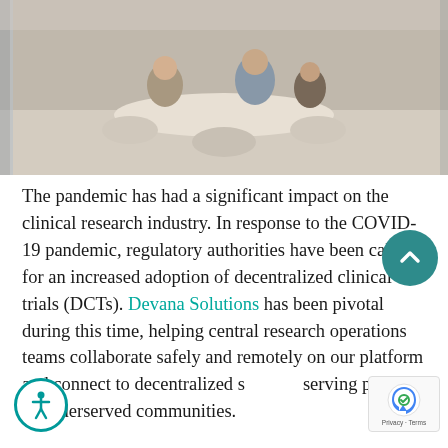[Figure (photo): Office/meeting room photo showing people seated around a white table with chairs, viewed through glass doors or a corridor.]
The pandemic has had a significant impact on the clinical research industry. In response to the COVID-19 pandemic, regulatory authorities have been calling for an increased adoption of decentralized clinical trials (DCTs). Devana Solutions has been pivotal during this time, helping central research operations teams collaborate safely and remotely on our platform and connect to decentralized sites serving patients in underserved communities.